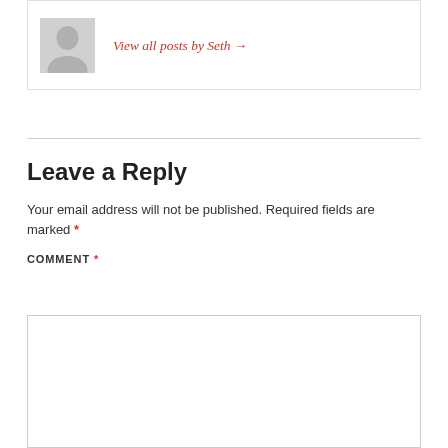[Figure (illustration): Author avatar placeholder — grey silhouette of a person on light grey background]
View all posts by Seth →
Leave a Reply
Your email address will not be published. Required fields are marked *
COMMENT *